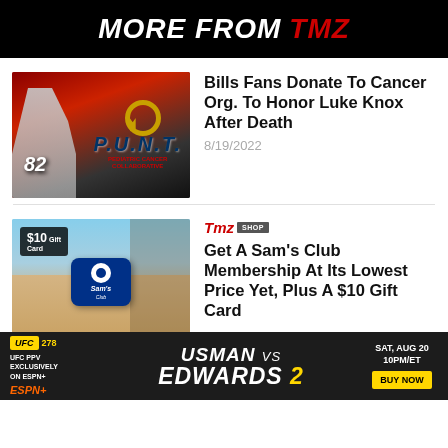MORE FROM TMZ
[Figure (photo): Football player wearing #82 jersey with PUNT Pediatric Cancer Collaborative logo overlay]
Bills Fans Donate To Cancer Org. To Honor Luke Knox After Death
8/19/2022
[Figure (photo): Sam's Club store exterior with $10 Gift Card badge overlay]
TMZ SHOP
Get A Sam's Club Membership At Its Lowest Price Yet, Plus A $10 Gift Card
[Figure (infographic): UFC 278 advertisement banner: Usman vs Edwards 2, UFC PPV Exclusively on ESPN+, Sat Aug 20 10PM/ET, Buy Now]